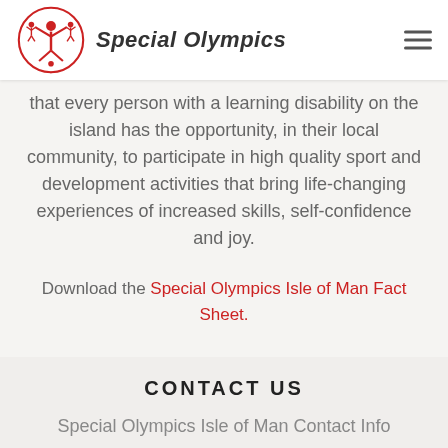Special Olympics
that every person with a learning disability on the island has the opportunity, in their local community, to participate in high quality sport and development activities that bring life-changing experiences of increased skills, self-confidence and joy.
Download the Special Olympics Isle of Man Fact Sheet.
CONTACT US
Special Olympics Isle of Man Contact Info